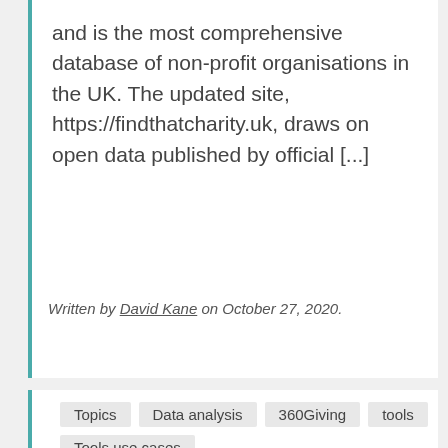and is the most comprehensive database of non-profit organisations in the UK. The updated site, https://findthatcharity.uk, draws on open data published by official [...]
Written by David Kane on October 27, 2020.
Topics  Data analysis  360Giving  tools  Tools use cases